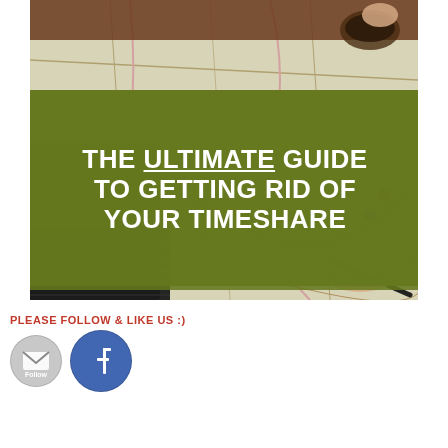[Figure (photo): Overhead view of a person's hands over a map with a coffee cup, a laptop with a travel website, and someone writing on the map. A large olive/dark-green banner overlays the center with white bold text: THE ULTIMATE GUIDE TO GETTING RID OF YOUR TIMESHARE]
PLEASE FOLLOW & LIKE US :)
[Figure (illustration): Gray circular email Follow button icon and blue Facebook logo button side by side]